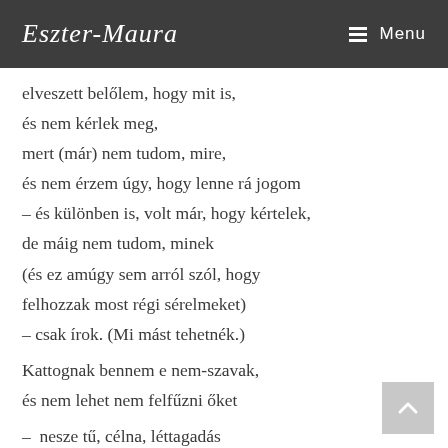Eszter-Maura  Menu
elveszett belőlem, hogy mit is,
és nem kérlek meg,
mert (már) nem tudom, mire,
és nem érzem úgy, hogy lenne rá jogom
– és különben is, volt már, hogy kértelek,
de máig nem tudom, minek
(és ez amúgy sem arról szól, hogy
felhozzak most régi sérelmeket)
– csak írok. (Mi mást tehetnék.)

Kattognak bennem e nem-szavak,
és nem lehet nem felfűzni őket

– nesze tű, célna, léttagadás
(ahogy a torony: összedőlt, s
most már soha nem is létezett)